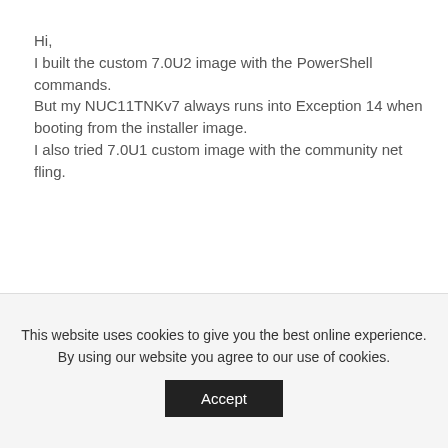Hi,
I built the custom 7.0U2 image with the PowerShell commands.
But my NUC11TNKv7 always runs into Exception 14 when booting from the installer image.
I also tried 7.0U1 custom image with the community net fling.
Reply
DAV1
This website uses cookies to give you the best online experience. By using our website you agree to our use of cookies.